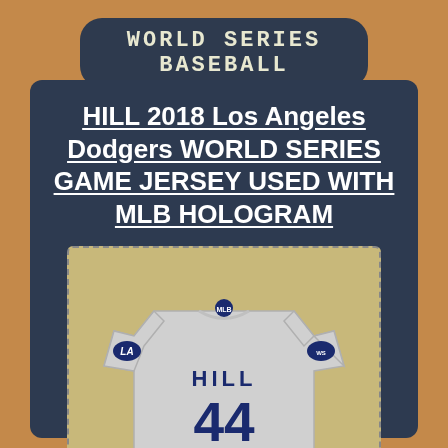WORLD SERIES BASEBALL
HILL 2018 Los Angeles Dodgers WORLD SERIES GAME JERSEY USED WITH MLB HOLOGRAM
[Figure (photo): Gray Los Angeles Dodgers game jersey with number 44 and name HILL on the back, displayed on a tan textured background. The jersey has World Series patches on the sleeves.]